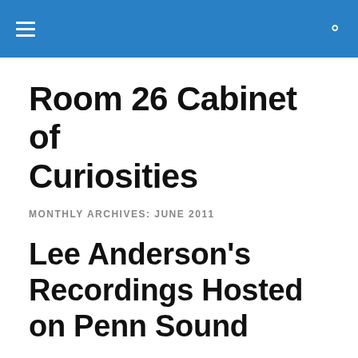Room 26 Cabinet of Curiosities
Room 26 Cabinet of Curiosities
MONTHLY ARCHIVES: JUNE 2011
Lee Anderson's Recordings Hosted on Penn Sound